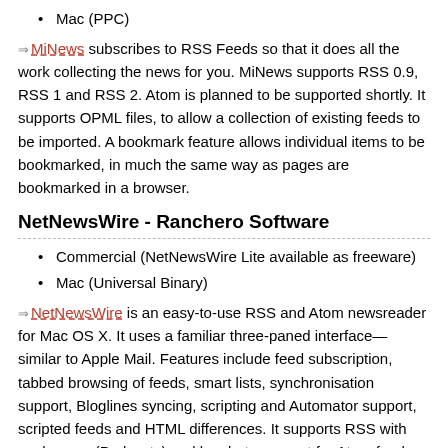Mac (PPC)
MiNews subscribes to RSS Feeds so that it does all the work collecting the news for you. MiNews supports RSS 0.9, RSS 1 and RSS 2. Atom is planned to be supported shortly. It supports OPML files, to allow a collection of existing feeds to be imported. A bookmark feature allows individual items to be bookmarked, in much the same way as pages are bookmarked in a browser.
NetNewsWire - Ranchero Software
Commercial (NetNewsWire Lite available as freeware)
Mac (Universal Binary)
NetNewsWire is an easy-to-use RSS and Atom newsreader for Mac OS X. It uses a familiar three-paned interface—similar to Apple Mail. Features include feed subscription, tabbed browsing of feeds, smart lists, synchronisation support, Bloglines syncing, scripting and Automator support, scripted feeds and HTML differences. It supports RSS with enclosures (Podcasts) and has beta support for Atom feeds. NetNewsWire has won many awards including a MacWorld eddy, and a Mac OS X Innovators Award from O'Reilly.
NewsFire - David Watanabe
Shareware
Mac (PPC)
NewsFire is an elegant way to monitor news feeds and be